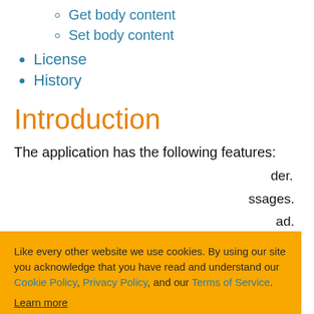Get body content
Set body content
License
History
Introduction
The application has the following features:
[Figure (other): Cookie consent banner overlay with orange background. Text: 'Like every other website we use cookies. By using our site you acknowledge that you have read and understand our Cookie Policy, Privacy Policy, and our Terms of Service. Learn more'. Buttons: 'Ask me later', 'Decline', 'Allow cookies'.]
...der.
...ssages.
...ad.
Get/set content...